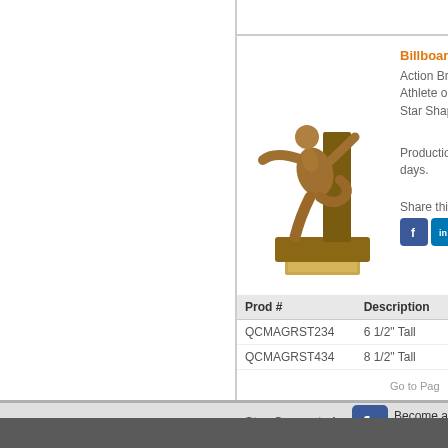[Figure (photo): Bronze wrestling trophy figurine showing an athlete wrestling pose on a star-shaped base with WRESTLING text, gold plate at bottom]
Billboard Se
Action Bron Athlete on a Star Shaped
Production days.
Share this A
| Prod # | Description |
| --- | --- |
| QCMAGRST234 | 6 1/2" Tall |
| QCMAGRST434 | 8 1/2" Tall |
Go to Pag
Stay Connected:
Become a fan on Facebook